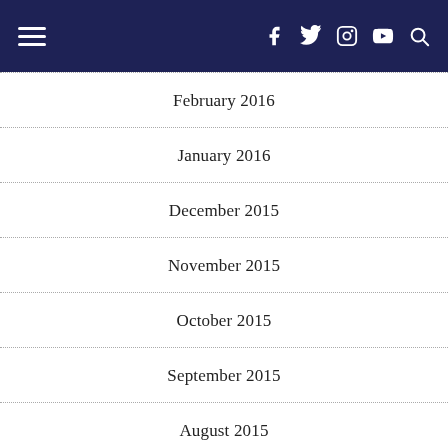Navigation bar with hamburger menu and social icons (Facebook, Twitter, Instagram, YouTube, Search)
February 2016
January 2016
December 2015
November 2015
October 2015
September 2015
August 2015
July 2015
June 2015
May 2015
April 2015